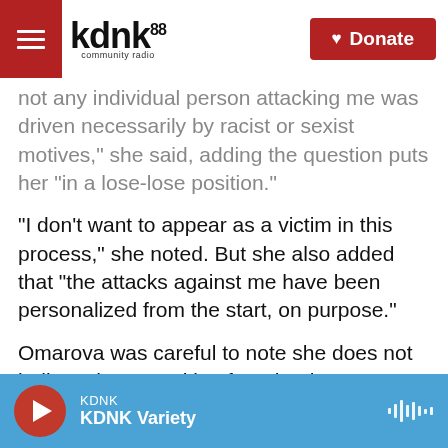KDNK 88 community radio | Donate
not any individual person attacking me was driven necessarily by racist or sexist motives," she said, adding the question puts her "in a lose-lose position."
"I don't want to appear as a victim in this process," she noted. But she also added that "the attacks against me have been personalized from the start, on purpose."
Omarova was careful to note she does not believe the opposition from banks was necessarily personal
KDNK | KDNK Variety